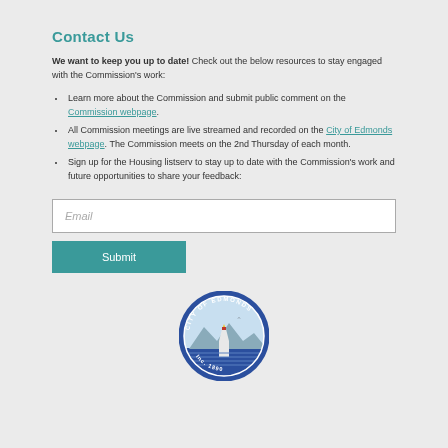Contact Us
We want to keep you up to date! Check out the below resources to stay engaged with the Commission's work:
Learn more about the Commission and submit public comment on the Commission webpage.
All Commission meetings are live streamed and recorded on the City of Edmonds webpage. The Commission meets on the 2nd Thursday of each month.
Sign up for the Housing listserv to stay up to date with the Commission's work and future opportunities to share your feedback:
Email
Submit
[Figure (logo): City of Edmonds official seal/logo, circular badge with lighthouse and mountains, Inc. 1890]